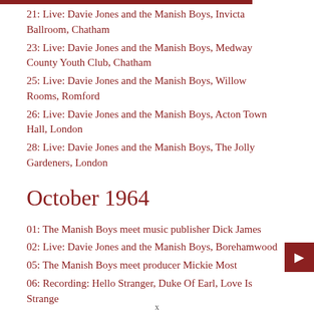21: Live: Davie Jones and the Manish Boys, Invicta Ballroom, Chatham
23: Live: Davie Jones and the Manish Boys, Medway County Youth Club, Chatham
25: Live: Davie Jones and the Manish Boys, Willow Rooms, Romford
26: Live: Davie Jones and the Manish Boys, Acton Town Hall, London
28: Live: Davie Jones and the Manish Boys, The Jolly Gardeners, London
October 1964
01: The Manish Boys meet music publisher Dick James
02: Live: Davie Jones and the Manish Boys, Borehamwood
05: The Manish Boys meet producer Mickie Most
06: Recording: Hello Stranger, Duke Of Earl, Love Is Strange
x